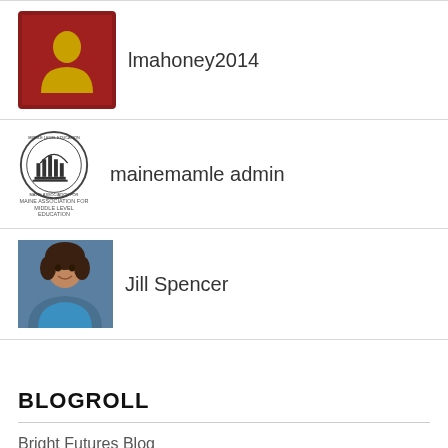[Figure (illustration): Red stamp-style avatar with yellow silhouette]
lmahoney2014
[Figure (logo): Maine Association for Middle Level Education circular seal logo]
mainemamle admin
[Figure (photo): Photo of Jill Spencer, a smiling woman]
Jill Spencer
BLOGROLL
Bright Futures Blog
Digital Citizenship 4 All
meartsed
Multiple Pathways